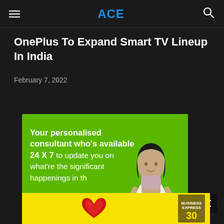ACE
OnePlus To Expand Smart TV Lineup In India
February 7, 2022
[Figure (photo): Advertisement banner with green background showing a woman consultant with text: 'Your personalised consultant who’s available 24 X 7 to update you on what’re the significant happenings in th...' Overlapping yellow banner at the bottom with a red heart icon and an Express magazine badge.]